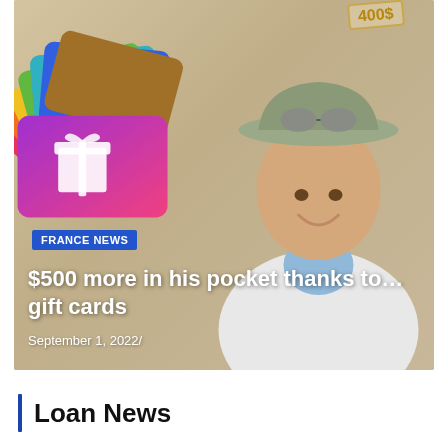[Figure (photo): Hero image showing colorful gift cards fanned out on the left and a smiling man wearing a wide-brim hat and bandana on the right, with a beige/tan background. A price tag showing '400$' is visible in the top right corner.]
FRANCE NEWS
$500 more in his pocket thanks to… gift cards
September 1, 2022/
Loan News